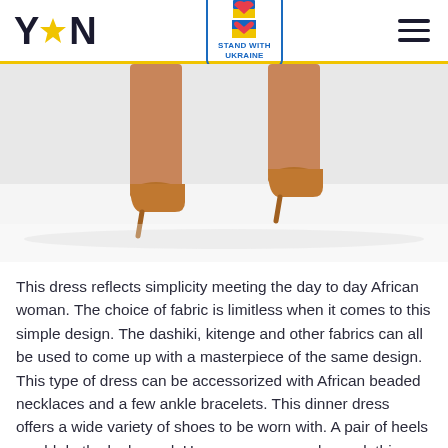YEN — Stand with Ukraine
[Figure (photo): Close-up of a woman's legs wearing tan/caramel stiletto high heels, standing on a white surface, legs visible from approximately the knees down.]
This dress reflects simplicity meeting the day to day African woman. The choice of fabric is limitless when it comes to this simple design. The dashiki, kitenge and other fabrics can all be used to come up with a masterpiece of the same design. This type of dress can be accessorized with African beaded necklaces and a few ankle bracelets. This dinner dress offers a wide variety of shoes to be worn with. A pair of heels would do the look good. However, you can also rock this outfit with a pair of boots. The most important thing is to ensure you are